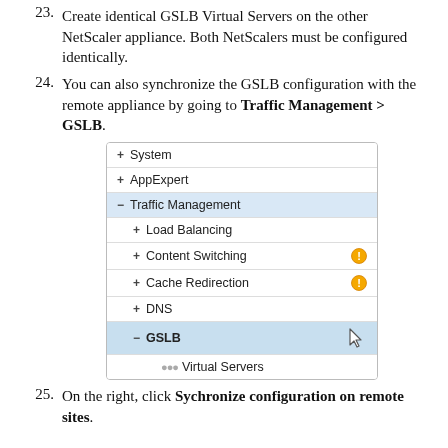23. Create identical GSLB Virtual Servers on the other NetScaler appliance. Both NetScalers must be configured identically.
24. You can also synchronize the GSLB configuration with the remote appliance by going to Traffic Management > GSLB.
[Figure (screenshot): Screenshot of a NetScaler navigation panel showing: System, AppExpert, Traffic Management (expanded with Load Balancing, Content Switching (warning icon), Cache Redirection (warning icon), DNS, GSLB (highlighted/selected, with cursor), and Virtual Servers sub-item).]
25. On the right, click Sychronize configuration on remote sites.